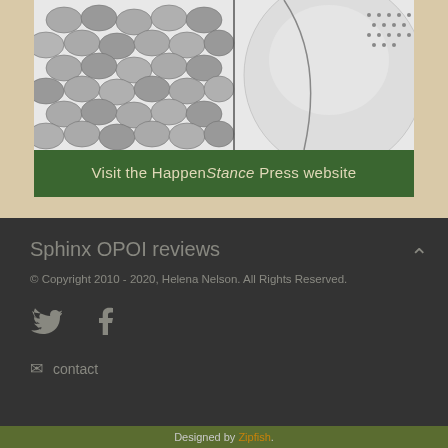[Figure (illustration): Black and white detailed illustration showing textured patterns resembling scales or cobblestones on the left and a smoother curved form on the right, cropped at the top.]
Visit the HappenStance Press website
Sphinx OPOI reviews
© Copyright 2010 - 2020, Helena Nelson. All Rights Reserved.
[Figure (logo): Twitter bird icon in grey]
[Figure (logo): Facebook 'f' icon in grey]
contact
Designed by Zipfish.